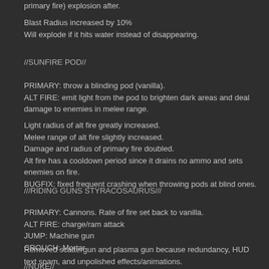primary fire) explosion after.
Blast Radius increased by 10%
Will explode if it hits water instead of disappearing.
//SUNFIRE POD//
PRIMARY: throw a blinding pod (vanilla).
ALT FIRE: emit light from the pod to brighten dark areas and deal damage to enemies in melee range.
Light radius of alt fire greatly increased.
Melee range of alt fire slightly increased.
Damage and radius of primary fire doubled.
Alt fire has a cooldown period since it drains no ammo and sets enemies on fire.
BUGFIX: fixed frequent crashing when throwing pods at blind ones.
///RIDING GUNS STYRACOSAURUS///
PRIMARY: Cannons. Rate of fire set back to vanilla.
ALT FIRE: charge/ram attack
JUMP: Machine gun
CROUCH: Mortar
Removed scattergun and plasma gun because redundancy, HUD text spam, and unpolished effects/animations.
//NUKE//